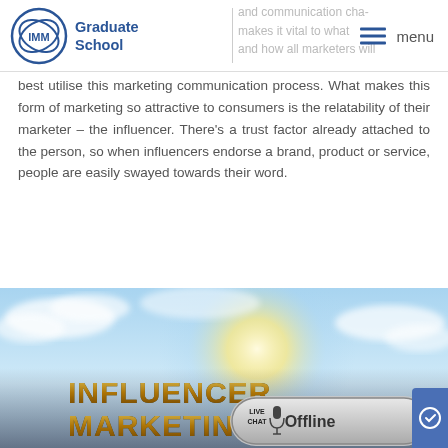IMM Graduate School — menu
best utilise this marketing communication process. What makes this form of marketing so attractive to consumers is the relatability of their marketer – the influencer. There's a trust factor already attached to the person, so when influencers endorse a brand, product or service, people are easily swayed towards their word.
[Figure (photo): Image with bold text reading 'INFLUENCER MARKETING' against a bright blue sky and sunburst background, with a 'Live Chat – Offline' button overlay in the bottom right corner.]